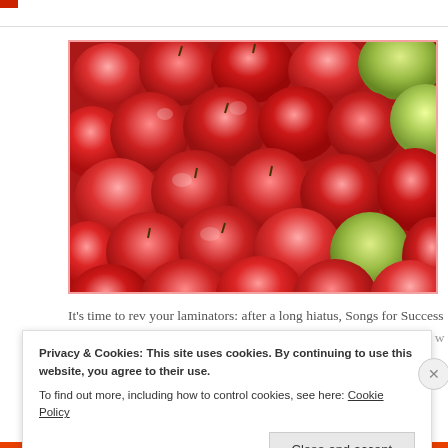[Figure (photo): A large pile of red and green apples filling the entire frame, photographed from above.]
It's time to rev your laminators: after a long hiatus, Songs for Success
with music therapy session ideas, songs and visuals! I've been busy w m
Privacy & Cookies: This site uses cookies. By continuing to use this website, you agree to their use.
To find out more, including how to control cookies, see here: Cookie Policy